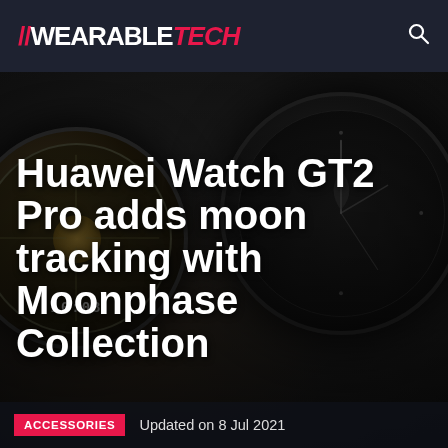//WEARABLETECH
[Figure (photo): Dark background photo showing two Huawei Watch GT2 Pro smartwatches with dark circular faces on a dark background. Left watch shows analog-style face with gold accents and time 10:08. Right watch shows a minimalist dark face with subtle markings.]
Huawei Watch GT2 Pro adds moon tracking with Moonphase Collection
ACCESSORIES  Updated on 8 Jul 2021